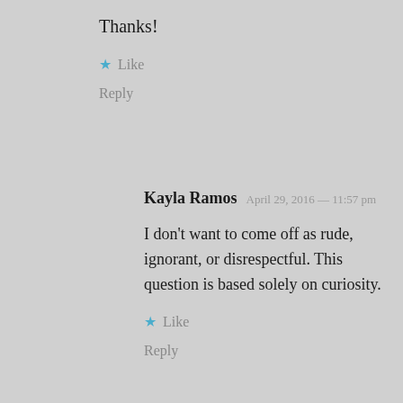Thanks!
★ Like
Reply
Kayla Ramos  April 29, 2016 — 11:57 pm
I don't want to come off as rude, ignorant, or disrespectful. This question is based solely on curiosity.
★ Like
Reply